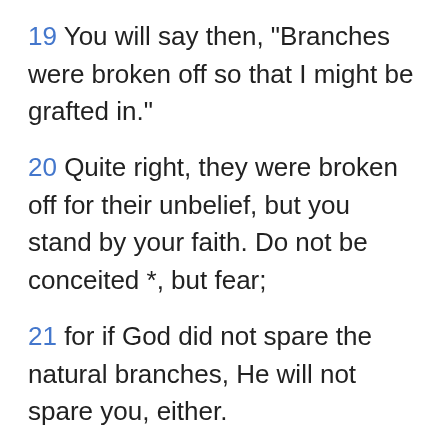19 You will say then, "Branches were broken off so that I might be grafted in."
20 Quite right, they were broken off for their unbelief, but you stand by your faith. Do not be conceited *, but fear;
21 for if God did not spare the natural branches, He will not spare you, either.
22 Behold then the kindness and severity of God; to those who fell, severity, but to you, God's kindness, if you continue in His kindness; otherwise you also will be cut off.
23 And they also, if they do not continue in their unbelief, will be grafted in, for God is